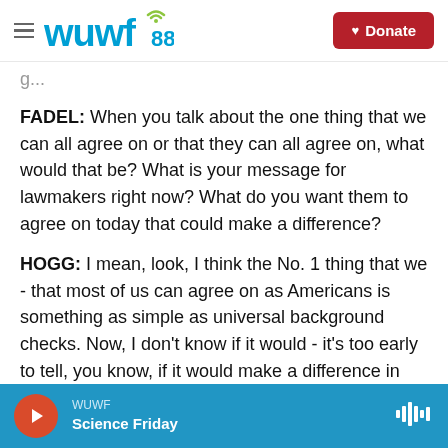wuwf 88.1 — Donate
FADEL: When you talk about the one thing that we can all agree on or that they can all agree on, what would that be? What is your message for lawmakers right now? What do you want them to agree on today that could make a difference?
HOGG: I mean, look, I think the No. 1 thing that we - that most of us can agree on as Americans is something as simple as universal background checks. Now, I don't know if it would - it's too early to tell, you know, if it would make a difference in this situation or a number of, you know, others. But
WUWF — Science Friday